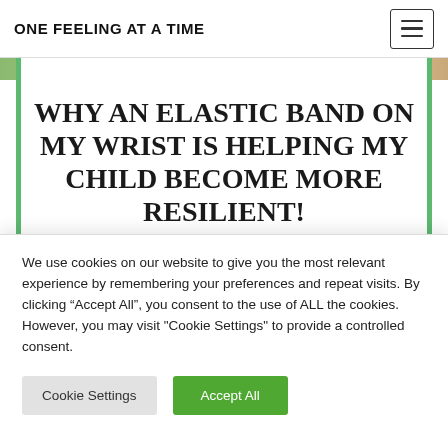ONE FEELING AT A TIME
[Figure (photo): Partial hero image showing colorful background (green and peach/tan tones) at the top of the page]
WHY AN ELASTIC BAND ON MY WRIST IS HELPING MY CHILD BECOME MORE RESILIENT!
May 25, 2017
We use cookies on our website to give you the most relevant experience by remembering your preferences and repeat visits. By clicking “Accept All”, you consent to the use of ALL the cookies. However, you may visit "Cookie Settings" to provide a controlled consent.